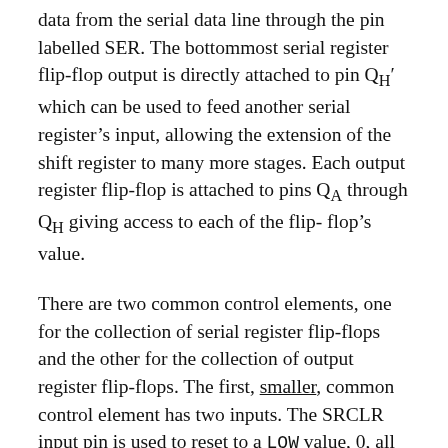data from the serial data line through the pin labelled SER. The bottommost serial register flip-flop output is directly attached to pin Q_H' which can be used to feed another serial register's input, allowing the extension of the shift register to many more stages. Each output register flip-flop is attached to pins Q_A through Q_H giving access to each of the flip-flop's value.
There are two common control elements, one for the collection of serial register flip-flops and the other for the collection of output register flip-flops. The first, smaller, common control element has two inputs. The SRCLR input pin is used to reset to a LOW value, 0, all shift register flip-flops when its value is set to LOW for a minimum of 20 ns. The SRCK input pin is the shift register flip-flops' common clock that shifts in the value of the SER pin and shifts the shift register flip-flop values when the pin is toggled